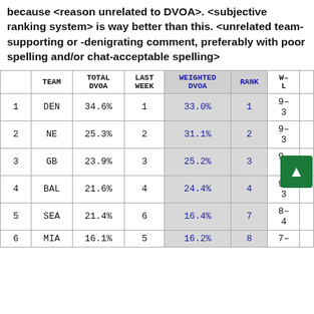<Team> is clearly ranked too high/too low because <reason unrelated to DVOA>. <subjective ranking system> is way better than this. <unrelated team-supporting or -denigrating comment, preferably with poor spelling and/or chat-acceptable spelling>
|  | TEAM | TOTAL DVOA | LAST WEEK | WEIGHTED DVOA | RANK | W-L |  |
| --- | --- | --- | --- | --- | --- | --- | --- |
| 1 | DEN | 34.6% | 1 | 33.0% | 1 | 9-3 |  |
| 2 | NE | 25.3% | 2 | 31.1% | 2 | 9-3 |  |
| 3 | GB | 23.9% | 3 | 25.2% | 3 | 9-3 |  |
| 4 | BAL | 21.6% | 4 | 24.4% | 4 | 9-3 |  |
| 5 | SEA | 21.4% | 6 | 16.4% | 7 | 8-4 |  |
| 6 | MIA | 16.1% | 5 | 16.2% | 8 | 7- |  |